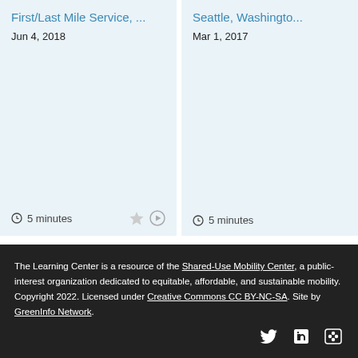First/Last Mile Service, ...
Jun 4, 2018
5 minutes
Seattle, Washingto...
Mar 1, 2017
5 minutes
[Figure (other): Navigation arrows left and right in teal/dark blue color]
The Learning Center is a resource of the Shared-Use Mobility Center, a public-interest organization dedicated to equitable, affordable, and sustainable mobility. Copyright 2022. Licensed under Creative Commons CC BY-NC-SA. Site by GreenInfo Network.